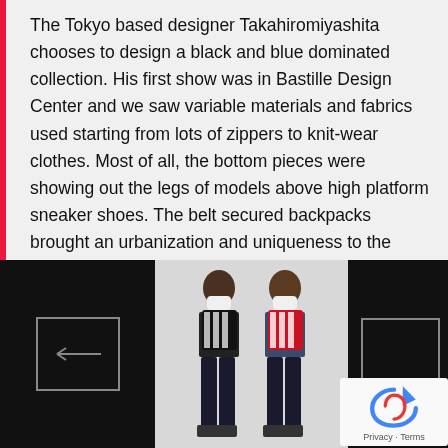The Tokyo based designer Takahiromiyashita chooses to design a black and blue dominated collection. His first show was in Bastille Design Center and we saw variable materials and fabrics used starting from lots of zippers to knit-wear clothes. Most of all, the bottom pieces were showing out the legs of models above high platform sneaker shoes. The belt secured backpacks brought an urbanization and uniqueness to the whole outfits.
[Figure (photo): Three-panel photo strip showing two fashion models wearing striped scarves and dark clothing with high platform sneakers. Left and right panels are black with navigation arrow boxes. Center panel shows two male models posing against a light background wearing black and white, and red and white striped scarves respectively.]